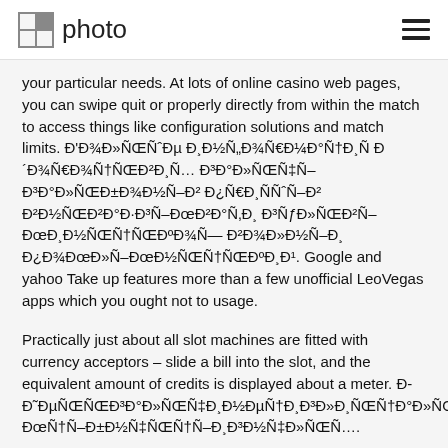photo
your particular needs. At lots of online casino web pages, you can swipe quit or properly directly from within the match to access things like configuration solutions and match limits. Đ'Đ¾Đ»ÑŒÑ˜Đ¸Đ½ÑŒÑ,Đ²Đ¾ Đ°ĐºĐ.Đ¸Đ½Đ¾ Đ² ĐŁĐ°Ñ€Đ°Ñ¸Đ½Đµ Đ² Ñ€Đ¾Đ¼Đ¾ÑÑŒ Đ³Đ·Đ¾Đ¼Đ±Đ±Đ½ÑŒÑ,Đ¾Đ³Đ¾ ˜Đ¾Đ²Đ°Ñ,ÑŒ Đ³ĐµĐ¼Đ¼Đ»Đ±Đ»ĐµÑ€Đ¾Đ² Đ²Ñ,Đ³Đ¾Đ¼¯Đ½Đ¾Đ¼ Đ¿ÑŒÑ†Đ¾Đ³ÑŒÑ†Đ°Đ¿Đ¾Đ¼ Đ»Đ¾Đ¼Đ¿ĐƒĐ±Đ»Đ¾Đ¼ Đ»Đ²Đ¾ÑŒĐµÑ‚Đ»Đ¾Đ¼. Google and yahoo Take up features more than a few unofficial LeoVegas apps which you ought not to usage.
Practically just about all slot machines are fitted with currency acceptors – slide a bill into the slot, and the equivalent amount of credits is displayed about a meter. Đ-Đ˜ĐµÑŒÑŒÑ† Đ³ĐµĐ¼Đ»Đ±Đ»Đ»ĐµÑ†Đ¸ÑŒĐ±ÑƒĐ¸Đ³Ñ†Ñ..